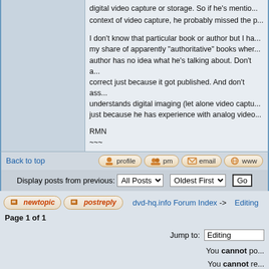digital video capture or storage. So if he's mentioned it in the context of video capture, he probably missed the point.
I don't know that particular book or author but I have read my share of apparently "authoritative" books where the author has no idea what he's talking about. Don't assume it's correct just because it got published. And don't assume he understands digital imaging (let alone video capture) just because he has experience with analog video.
RMN
~~~
Back to top
Display posts from previous: All Posts  Oldest First  Go
dvd-hq.info Forum Index -> Editing
Page 1 of 1
Jump to: Editing
You cannot po
You cannot re
You cannot ed
You cannot dele
You cannot